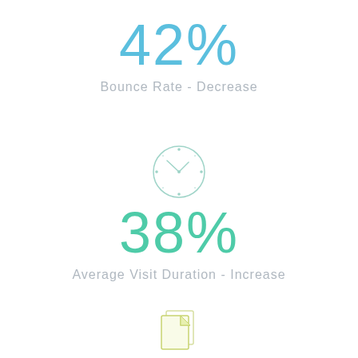42%
Bounce Rate - Decrease
[Figure (illustration): Clock icon outline in light gray/teal color]
38%
Average Visit Duration - Increase
[Figure (illustration): Two overlapping document/page icons in light yellow-green outline style]